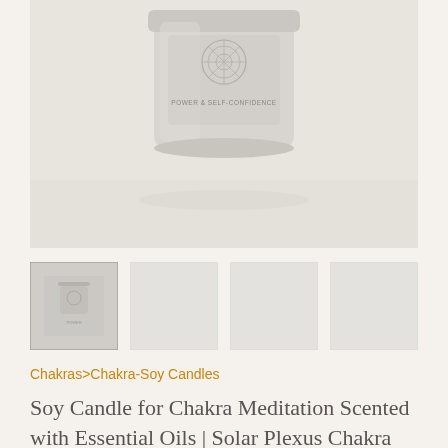[Figure (photo): A white/light grey cylindrical candle jar with a mandala design and text reading 'POWER & SELF-CONFIDENCE' on the label, photographed from above at a slight angle on a light beige background.]
[Figure (photo): Thumbnail row: first thumbnail shows the candle jar (same as main image), remaining three thumbnails are blank light grey placeholder boxes.]
Chakras>Chakra-Soy Candles
Soy Candle for Chakra Meditation Scented with Essential Oils | Solar Plexus Chakra Manipura | Lavender Blossom | Power and Self-confidence -